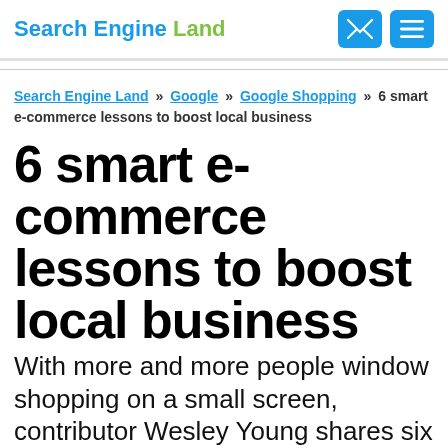Search Engine Land
Search Engine Land » Google » Google Shopping » 6 smart e-commerce lessons to boost local business
6 smart e-commerce lessons to boost local business
With more and more people window shopping on a small screen, contributor Wesley Young shares six ways to use